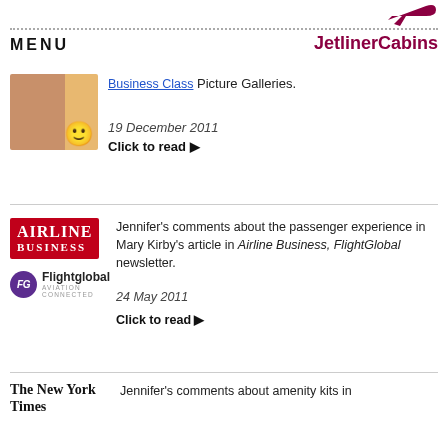MENU   JetlinerCabins
[Figure (photo): Partial image showing torso with smiley face emoji]
Business Class Picture Galleries.
19 December 2011
Click to read ▶
[Figure (logo): Airline Business logo (red background, white serif text) and Flightglobal logo (purple circle FG with text)]
Jennifer's comments about the passenger experience in Mary Kirby's article in Airline Business, FlightGlobal newsletter.
24 May 2011
Click to read ▶
[Figure (logo): The New York Times logo in serif blackletter font]
Jennifer's comments about amenity kits in